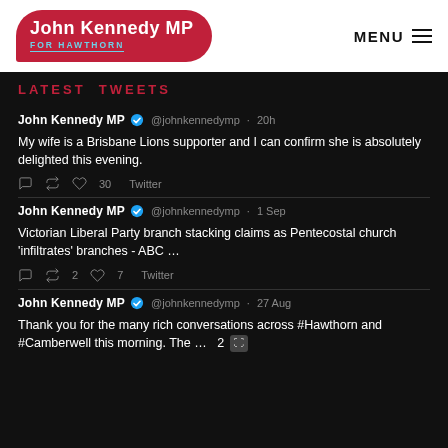John Kennedy MP FOR HAWTHORN | MENU
LATEST TWEETS
John Kennedy MP @johnkennedymp · 20h
My wife is a Brisbane Lions supporter and I can confirm she is absolutely delighted this evening.
♡ 30  Twitter
John Kennedy MP @johnkennedymp · 1 Sep
Victorian Liberal Party branch stacking claims as Pentecostal church 'infiltrates' branches - ABC ...
Retweet 2  ♡ 7  Twitter
John Kennedy MP @johnkennedymp · 27 Aug
Thank you for the many rich conversations across #Hawthorn and #Camberwell this morning. The ... 2 [photo]